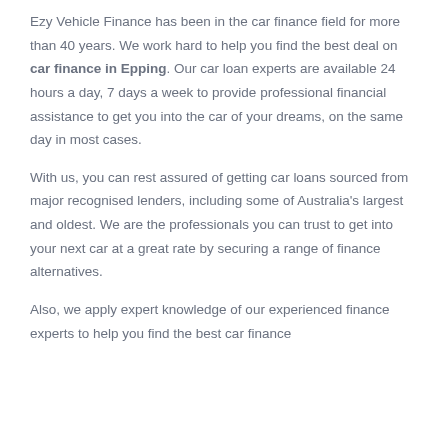Ezy Vehicle Finance has been in the car finance field for more than 40 years. We work hard to help you find the best deal on car finance in Epping. Our car loan experts are available 24 hours a day, 7 days a week to provide professional financial assistance to get you into the car of your dreams, on the same day in most cases.
With us, you can rest assured of getting car loans sourced from major recognised lenders, including some of Australia's largest and oldest. We are the professionals you can trust to get into your next car at a great rate by securing a range of finance alternatives.
Also, we apply expert knowledge of our experienced finance experts to help you find the best car finance